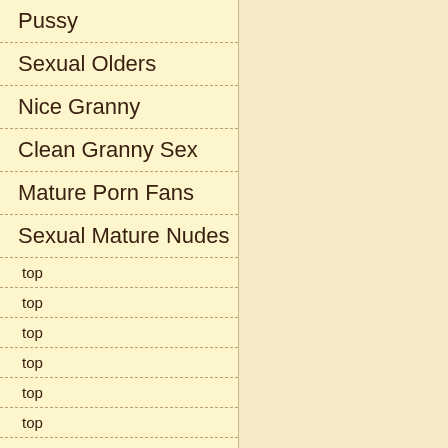Pussy
Sexual Olders
Nice Granny
Clean Granny Sex
Mature Porn Fans
Sexual Mature Nudes
top
top
top
top
top
top
top
top